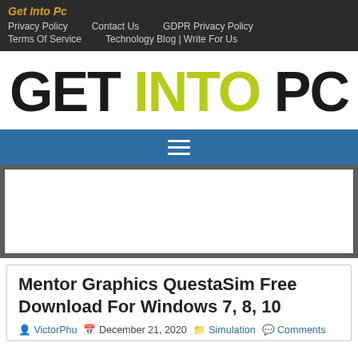Get Into Pc — Privacy Policy | Contact Us | GDPR Privacy Policy | Terms Of Service | Technology Blog | Write For Us
GET INTO PC
[Figure (other): Blue navigation bar with hamburger menu icon (three white horizontal lines)]
[Figure (other): Advertisement placeholder area (white rectangle on grey background)]
Mentor Graphics QuestaSim Free Download For Windows 7, 8, 10
VictorPhu  December 21, 2020  Simulation  Comments